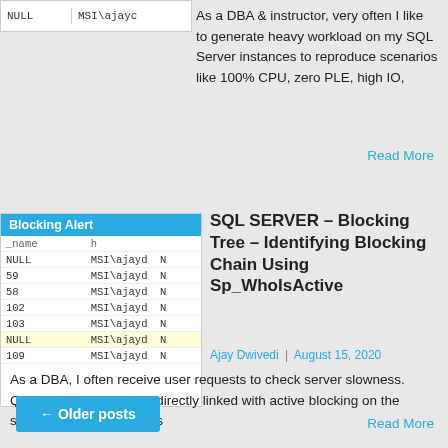[Figure (screenshot): Partial table screenshot showing NULL and MSI\ajayc entries]
As a DBA & instructor, very often I like to generate heavy workload on my SQL Server instances to reproduce scenarios like 100% CPU, zero PLE, high IO,
Read More
[Figure (screenshot): Blocking Alert table screenshot showing rows with NULL, 59, 58, 102, 103, NULL, 109 and MSI\ajayd entries]
SQL SERVER – Blocking Tree – Identifying Blocking Chain Using Sp_WhoIsActive
Ajay Dwivedi | August 15, 2020
As a DBA, I often receive user requests to check server slowness. Quite often, slowness is directly linked with active blocking on the server. I find many scripts
Read More
← Older posts